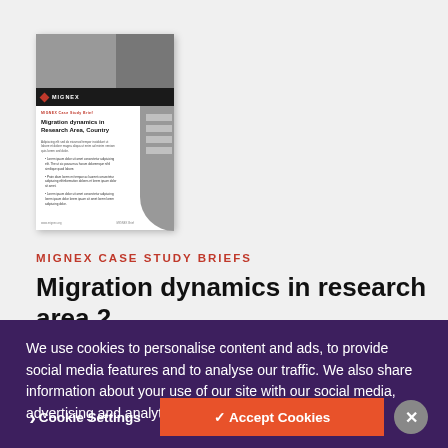[Figure (screenshot): Thumbnail preview of a MIGNEX Case Study Brief document titled 'Migration dynamics in Research Area, Country', showing a cover with a photo, MIGNEX logo, document text, bullet points, and a gray decorative band.]
MIGNEX CASE STUDY BRIEFS
Migration dynamics in research area 2,
We use cookies to personalise content and ads, to provide social media features and to analyse our traffic. We also share information about your use of our site with our social media, advertising and analytics partners.
Cookie Settings
✓ Accept Cookies
✕